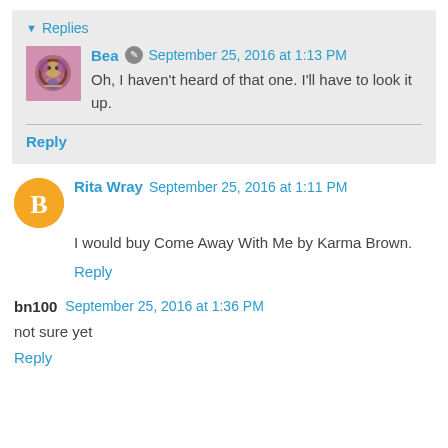Replies
Bea · September 25, 2016 at 1:13 PM
Oh, I haven't heard of that one. I'll have to look it up.
Reply
Rita Wray · September 25, 2016 at 1:11 PM
I would buy Come Away With Me by Karma Brown.
Reply
bn100 · September 25, 2016 at 1:36 PM
not sure yet
Reply